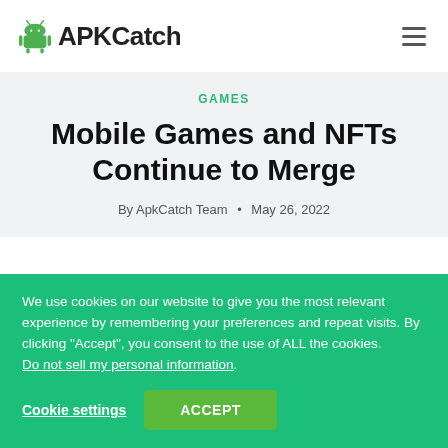APKCatch
GAMES
Mobile Games and NFTs Continue to Merge
By ApkCatch Team • May 26, 2022
We use cookies on our website to give you the most relevant experience by remembering your preferences and repeat visits. By clicking "Accept", you consent to the use of ALL the cookies. Do not sell my personal information.
Cookie settings    ACCEPT